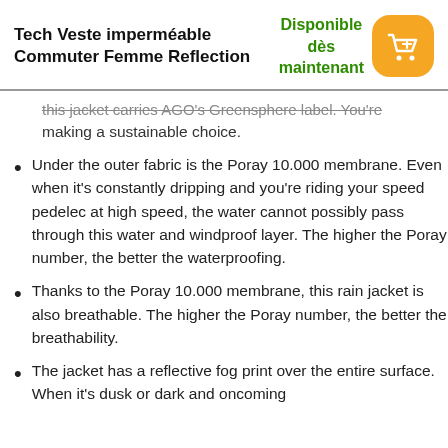Tech Veste imperméable Commuter Femme Reflection
Disponible dès maintenant
this jacket carries AGO's Greensphere label. You're making a sustainable choice.
Under the outer fabric is the Poray 10.000 membrane. Even when it's constantly dripping and you're riding your speed pedelec at high speed, the water cannot possibly pass through this water and windproof layer. The higher the Poray number, the better the waterproofing.
Thanks to the Poray 10.000 membrane, this rain jacket is also breathable. The higher the Poray number, the better the breathability.
The jacket has a reflective fog print over the entire surface. When it's dusk or dark and oncoming